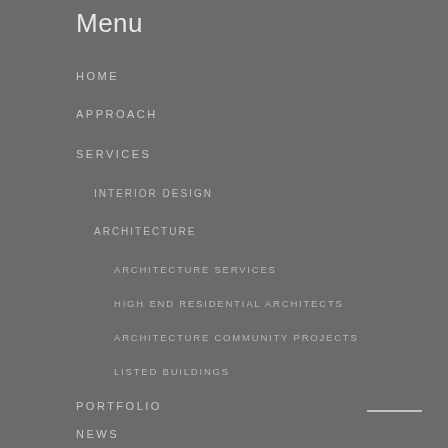Menu
HOME
APPROACH
SERVICES
INTERIOR DESIGN
ARCHITECTURE
ARCHITECTURE SERVICES
HIGH END RESIDENTIAL ARCHITECTS
ARCHITECTURE COMMUNITY PROJECTS
LISTED BUILDINGS
PORTFOLIO
NEWS